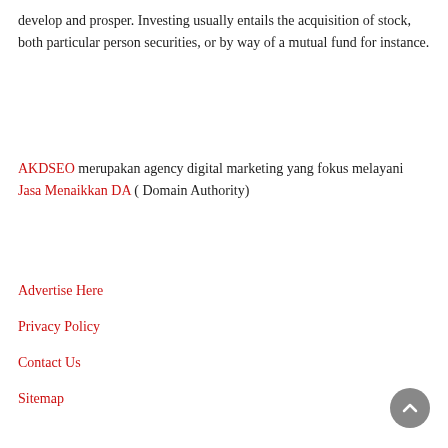develop and prosper. Investing usually entails the acquisition of stock, both particular person securities, or by way of a mutual fund for instance.
AKDSEO merupakan agency digital marketing yang fokus melayani Jasa Menaikkan DA ( Domain Authority)
Advertise Here
Privacy Policy
Contact Us
Sitemap